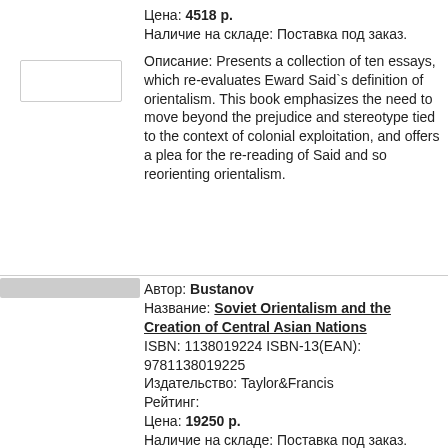Цена: 4518 р.
Наличие на складе: Поставка под заказ.
Описание: Presents a collection of ten essays, which re-evaluates Eward Said`s definition of orientalism. This book emphasizes the need to move beyond the prejudice and stereotype tied to the context of colonial exploitation, and offers a plea for the re-reading of Said and so reorienting orientalism.
Автор: Bustanov
Название: Soviet Orientalism and the Creation of Central Asian Nations
ISBN: 1138019224 ISBN-13(EAN): 9781138019225
Издательство: Taylor&Francis
Рейтинг:
Цена: 19250 р.
Наличие на складе: Поставка под заказ.
Описание: Orientalism – the idea that the standpoint of Western writers on the East greatly affected what they wrote about the East, the "Other" – applied also in Russia